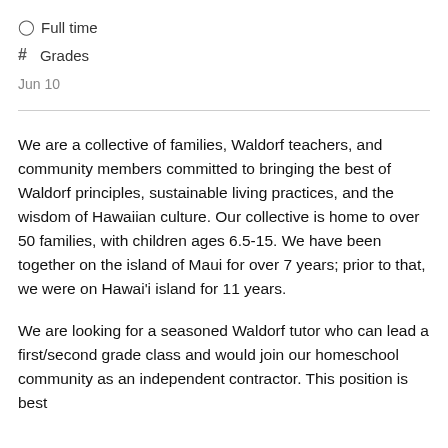⊙ Full time
# Grades
Jun 10
We are a collective of families, Waldorf teachers, and community members committed to bringing the best of Waldorf principles, sustainable living practices, and the wisdom of Hawaiian culture. Our collective is home to over 50 families, with children ages 6.5-15. We have been together on the island of Maui for over 7 years; prior to that, we were on Hawai'i island for 11 years.
We are looking for a seasoned Waldorf tutor who can lead a first/second grade class and would join our homeschool community as an independent contractor. This position is best